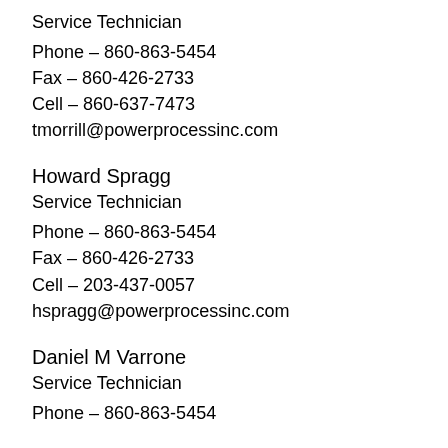Service Technician
Phone – 860-863-5454
Fax – 860-426-2733
Cell – 860-637-7473
tmorrill@powerprocessinc.com
Howard Spragg
Service Technician
Phone – 860-863-5454
Fax – 860-426-2733
Cell – 203-437-0057
hspragg@powerprocessinc.com
Daniel M Varrone
Service Technician
Phone – 860-863-5454